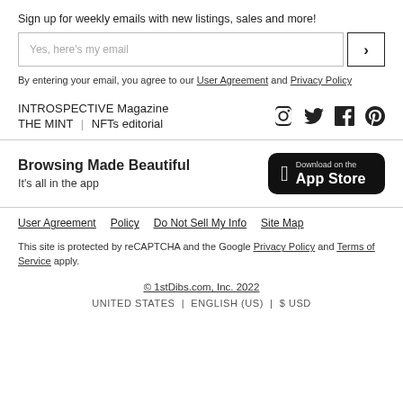Sign up for weekly emails with new listings, sales and more!
Yes, here's my email
By entering your email, you agree to our User Agreement and Privacy Policy
INTROSPECTIVE Magazine
THE MINT | NFTs editorial
[Figure (infographic): Social media icons: Instagram, Twitter, Facebook, Pinterest]
Browsing Made Beautiful
It's all in the app
[Figure (logo): Download on the App Store button with Apple logo]
User Agreement  Policy  Do Not Sell My Info  Site Map
This site is protected by reCAPTCHA and the Google Privacy Policy and Terms of Service apply.
© 1stDibs.com, Inc. 2022
UNITED STATES | ENGLISH (US) | $ USD